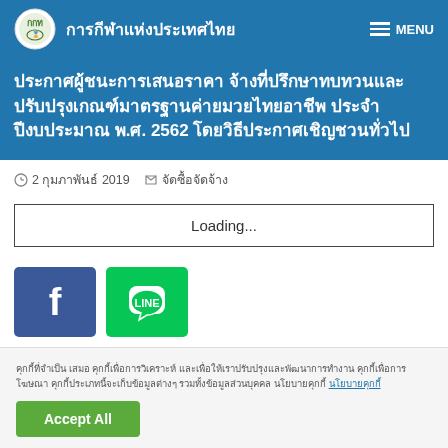การกีฬาแห่งประเทศไทย
ประกาศผู้ชนะการเสนอราคา จ้างที่ปรึกษาทบทวนและปรับปรุงเกณฑ์มาตรฐานค่ายมวยไทยอาชีพ ประจำปีงบประมาณ พ.ศ. 2562 โดยวิธีประกาศเชิญชวนทั่วไป
2 กุมภาพันธ์ 2019  จัดซื้อจัดจ้าง
Loading...
[Figure (other): Facebook share button (blue square with white f logo)]
[Figure (other): LINE share button (green square with LINE speech bubble logo)]
คุกกี้ที่จำเป็น เสมอ คุกกี้เพื่อการวิเคราะห์ และเพื่อให้เราปรับปรุงและพัฒนาการทำงาน คุกกี้เพื่อการโฆษณา คุกกี้ประเภทนี้จะเก็บข้อมูลต่างๆ รวมทั้งข้อมูลส่วนบุคคล นโยบายคุกกี้
Accept All